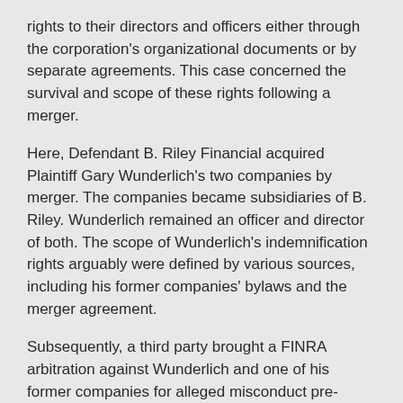rights to their directors and officers either through the corporation's organizational documents or by separate agreements. This case concerned the survival and scope of these rights following a merger.
Here, Defendant B. Riley Financial acquired Plaintiff Gary Wunderlich's two companies by merger. The companies became subsidiaries of B. Riley. Wunderlich remained an officer and director of both. The scope of Wunderlich's indemnification rights arguably were defined by various sources, including his former companies' bylaws and the merger agreement.
Subsequently, a third party brought a FINRA arbitration against Wunderlich and one of his former companies for alleged misconduct pre-dating the merger. B. Riley assumed the defense, eventually settled the matter and